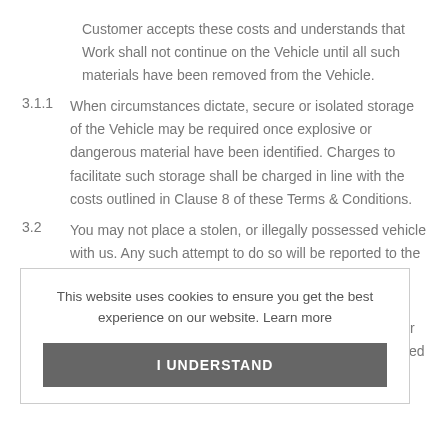Customer accepts these costs and understands that Work shall not continue on the Vehicle until all such materials have been removed from the Vehicle.
3.1.1  When circumstances dictate, secure or isolated storage of the Vehicle may be required once explosive or dangerous material have been identified. Charges to facilitate such storage shall be charged in line with the costs outlined in Clause 8 of these Terms & Conditions.
3.2  You may not place a stolen, or illegally possessed vehicle with us. Any such attempt to do so will be reported to the Police and any other relevant authorities as deemed necessary.
3.3  If the Vehicle has any specific requirements whatsoever mechanical, electrical or otherwise. We must be informed in writing of these prior to, or on arrival of the
This website uses cookies to ensure you get the best experience on our website. Learn more
I UNDERSTAND